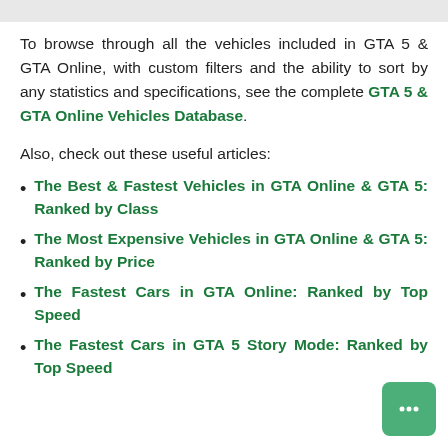To browse through all the vehicles included in GTA 5 & GTA Online, with custom filters and the ability to sort by any statistics and specifications, see the complete GTA 5 & GTA Online Vehicles Database.
Also, check out these useful articles:
The Best & Fastest Vehicles in GTA Online & GTA 5: Ranked by Class
The Most Expensive Vehicles in GTA Online & GTA 5: Ranked by Price
The Fastest Cars in GTA Online: Ranked by Top Speed
The Fastest Cars in GTA 5 Story Mode: Ranked by Top Speed